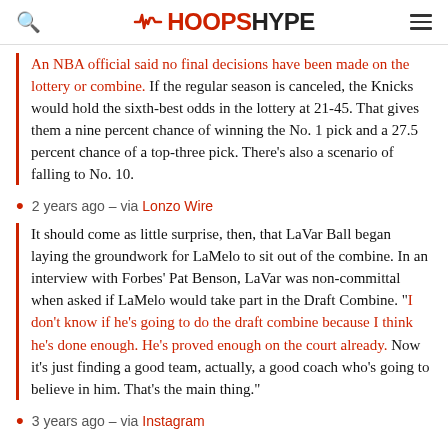HoopsHype
An NBA official said no final decisions have been made on the lottery or combine. If the regular season is canceled, the Knicks would hold the sixth-best odds in the lottery at 21-45. That gives them a nine percent chance of winning the No. 1 pick and a 27.5 percent chance of a top-three pick. There’s also a scenario of falling to No. 10.
2 years ago – via Lonzo Wire
It should come as little surprise, then, that LaVar Ball began laying the groundwork for LaMelo to sit out of the combine. In an interview with Forbes’ Pat Benson, LaVar was non-committal when asked if LaMelo would take part in the Draft Combine. “I don’t know if he’s going to do the draft combine because I think he’s done enough. He’s proved enough on the court already. Now it’s just finding a good team, actually, a good coach who’s going to believe in him. That’s the main thing.”
3 years ago – via Instagram